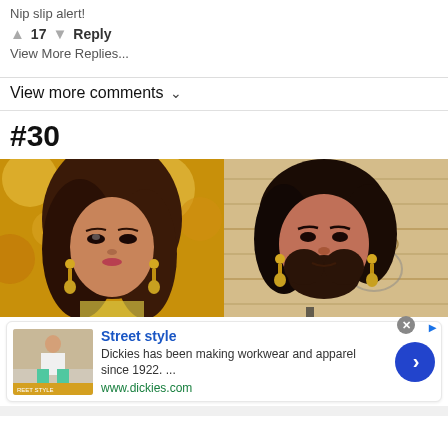Nip slip alert!
▲ 17 ▼  Reply
View More Replies...
View more comments ∨
#30
[Figure (photo): Two side-by-side photos: left shows a glamorous woman with long brown hair, dramatic makeup, and gold drop earrings against a golden bokeh background; right shows a bearded man wearing a long dark wig and similar gold drop earrings lying on a wooden floor surface, mimicking the woman's appearance.]
[Figure (screenshot): Advertisement banner for Dickies: Street style. 'Dickies has been making workwear and apparel since 1922. ...' www.dickies.com with a close button, ad image showing a person in street style clothing, and a blue circular arrow button.]